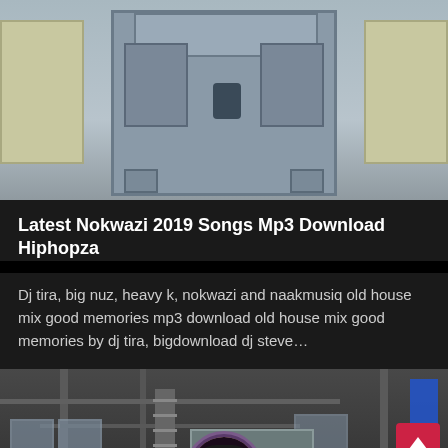[Figure (photo): Industrial machinery photo showing a gray metal machine/crusher unit with yellow crates in background]
Latest Nokwazi 2019 Songs Mp3 Download Hiphopza
Dj tira, big nuz, heavy k, nokwazi and naakmusiq old house mix good memories mp3 download old house mix good memories by dj tira, bigdownload dj steve…
[Figure (photo): Industrial factory interior with metal beams, ladders, windows and blue banner]
Leave Message
Chat Online